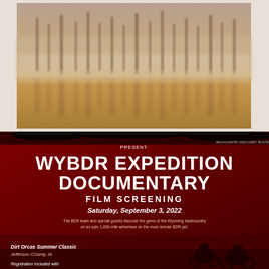[Figure (photo): Misty foggy landscape with trees reflected in calm water, warm amber/golden tones]
[Figure (infographic): WYBDR Expedition Documentary Film Screening event poster with red background showing motorcycle riders silhouette, date Saturday September 3 2022, venue Dirt Orcas Summer Classic Jefferson County IA]